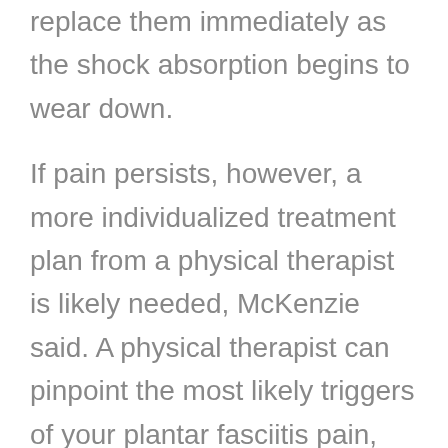replace them immediately as the shock absorption begins to wear down.
If pain persists, however, a more individualized treatment plan from a physical therapist is likely needed, McKenzie said. A physical therapist can pinpoint the most likely triggers of your plantar fasciitis pain, then customize a treatment regimen that may include flexibility and strength exercises, footwear recommendations and/or custom shoe inserts, and the possible use of taping or splints to help maintain optimal ankle and toe positions.